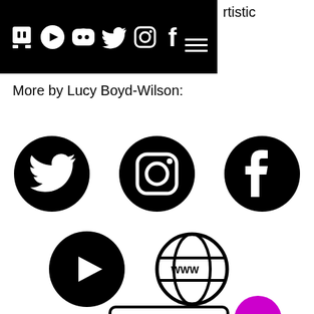[Figure (screenshot): Black navigation bar with social media icons: Twitch, YouTube, Discord, Twitter, Instagram, Facebook, and a hamburger menu icon. Partial text 'rtistic' visible top right.]
More by Lucy Boyd-Wilson:
[Figure (infographic): Three large black circular social media icons: Twitter bird, Instagram camera, Facebook F]
[Figure (infographic): Two large black circular icons: YouTube play button, WWW globe website icon; and a VRChat logo badge below. A magenta/purple chat bubble widget in bottom right.]